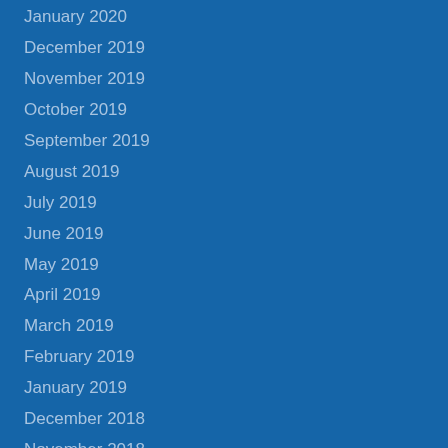January 2020
December 2019
November 2019
October 2019
September 2019
August 2019
July 2019
June 2019
May 2019
April 2019
March 2019
February 2019
January 2019
December 2018
November 2018
October 2018
September 2018
August 2018